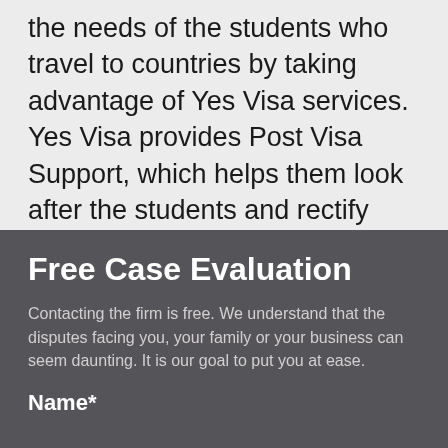the needs of the students who travel to countries by taking advantage of Yes Visa services. Yes Visa provides Post Visa Support, which helps them look after the students and rectify their problems, and we are also recognised by the Indian Government itself.
Free Case Evaluation
Contacting the firm is free. We understand that the disputes facing you, your family or your business can seem daunting. It is our goal to put you at ease.
Name*